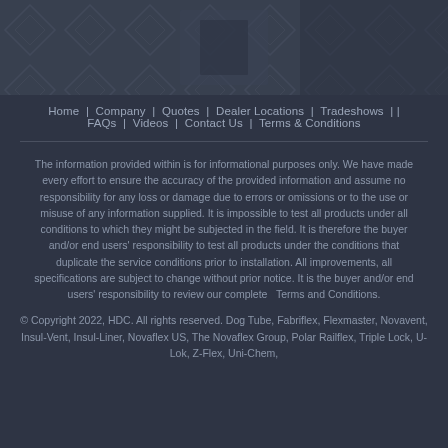[Figure (illustration): Top banner with decorative geometric/chevron pattern in dark gray tones]
Home | Company | Quotes | Dealer Locations | Tradeshows | FAQs | Videos | Contact Us | Terms & Conditions
The information provided within is for informational purposes only. We have made every effort to ensure the accuracy of the provided information and assume no responsibility for any loss or damage due to errors or omissions or to the use or misuse of any information supplied. It is impossible to test all products under all conditions to which they might be subjected in the field. It is therefore the buyer and/or end users' responsibility to test all products under the conditions that duplicate the service conditions prior to installation. All improvements, all specifications are subject to change without prior notice. It is the buyer and/or end users' responsibility to review our complete  Terms and Conditions.
© Copyright 2022, HDC. All rights reserved. Dog Tube, Fabriflex, Flexmaster, Novavent, Insul-Vent, Insul-Liner, Novaflex US, The Novaflex Group, Polar Railflex, Triple Lock, U-Lok, Z-Flex, Uni-Chem,